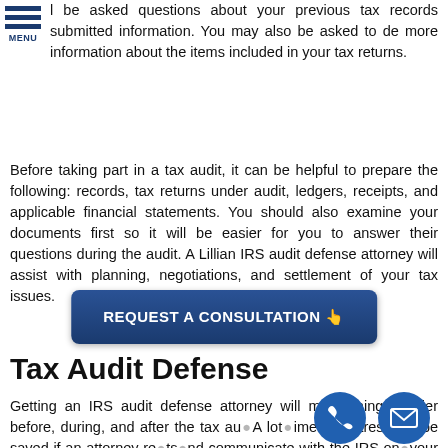l be asked questions about your previous tax records submitted information. You may also be asked to de more information about the items included in your tax returns.
Before taking part in a tax audit, it can be helpful to prepare the following: records, tax returns under audit, ledgers, receipts, and applicable financial statements. You should also examine your documents first so it will be easier for you to answer their questions during the audit. A Lillian IRS audit defense attorney will assist with planning, negotiations, and settlement of your tax issues.
[Figure (other): REQUEST A CONSULTATION button with hand pointer icon, dark blue rounded rectangle]
Tax Audit Defense
Getting an IRS audit defense attorney will make things easier before, during, and after the tax au... A lot of time and stress will be saved if an attorney re...ts...d ...communicate with the IRS on your behalf. You will